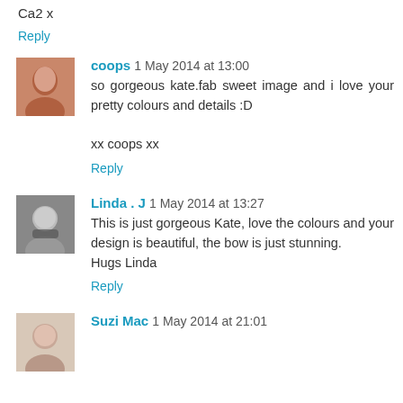Ca2 x
Reply
coops 1 May 2014 at 13:00
so gorgeous kate.fab sweet image and i love your pretty colours and details :D

xx coops xx
Reply
Linda . J 1 May 2014 at 13:27
This is just gorgeous Kate, love the colours and your design is beautiful, the bow is just stunning.
Hugs Linda
Reply
Suzi Mac 1 May 2014 at 21:01